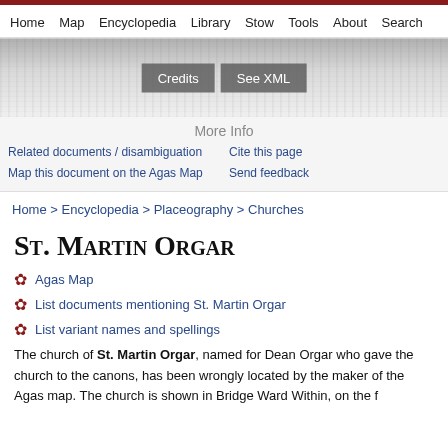Home   Map   Encyclopedia   Library   Stow   Tools   About   Search
[Figure (illustration): Woodcut panoramic cityscape banner image with Credits and See XML buttons overlaid]
More Info
Related documents / disambiguation   Cite this page
Map this document on the Agas Map   Send feedback
Home > Encyclopedia > Placeography > Churches
St. Martin Orgar
Agas Map
List documents mentioning St. Martin Orgar
List variant names and spellings
The church of St. Martin Orgar, named for Dean Orgar who gave the church to the canons, has been wrongly located by the maker of the Agas map. The church is shown in Bridge Ward Within, on the f